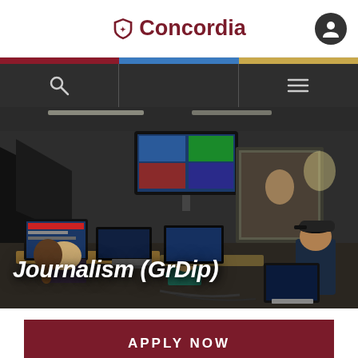Concordia
[Figure (photo): Newsroom control room with students working at computer workstations, monitors showing multi-camera feeds, a large display screen mounted on the wall, and a window looking into a studio where a broadcast is in progress. Text overlay reads 'Journalism (GrDip)'.]
Journalism (GrDip)
APPLY NOW